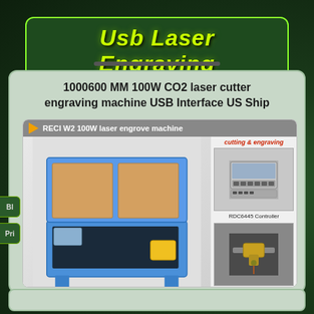Usb Laser Engraving
1000600 MM 100W CO2 laser cutter engraving machine USB Interface US Ship
[Figure (photo): Product listing image showing a RECI W2 100W CO2 laser engraving machine (blue cabinet) with accessories: RDC6445 Controller, Linear Guide, Auto Focus, CW5000 Chiller, and RECI W2 Laser Tube]
Bl
Pri